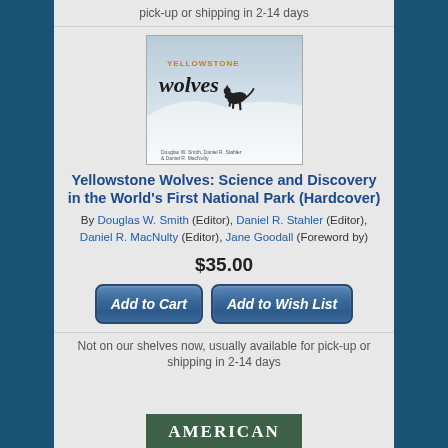pick-up or shipping in 2-14 days
[Figure (photo): Book cover of Yellowstone Wolves: Science and Discovery in the World's First National Park, showing a wolf in a snowy landscape]
Yellowstone Wolves: Science and Discovery in the World's First National Park (Hardcover)
By Douglas W. Smith (Editor), Daniel R. Stahler (Editor), Daniel R. MacNulty (Editor), Jane Goodall (Foreword by)
$35.00
Add to Cart
Add to Wish List
Not on our shelves now, usually available for pick-up or shipping in 2-14 days
[Figure (logo): American logo in green/dark background]